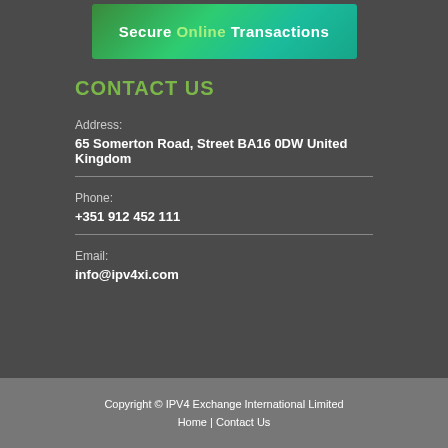[Figure (illustration): Banner image with text 'Secure Online Transactions' on a green gradient background]
CONTACT US
Address:
65 Somerton Road, Street BA16 0DW United Kingdom
Phone:
+351 912 452 111
Email:
info@ipv4xi.com
Copyright © IPV4 Exchange International Limited
Home  |  Contact Us